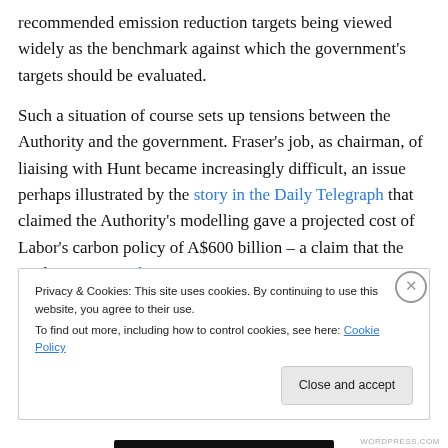recommended emission reduction targets being viewed widely as the benchmark against which the government's targets should be evaluated.
Such a situation of course sets up tensions between the Authority and the government. Fraser's job, as chairman, of liaising with Hunt became increasingly difficult, an issue perhaps illustrated by the story in the Daily Telegraph that claimed the Authority's modelling gave a projected cost of Labor's carbon policy of A$600 billion – a claim that the Authority rejected.
Privacy & Cookies: This site uses cookies. By continuing to use this website, you agree to their use. To find out more, including how to control cookies, see here: Cookie Policy
Close and accept